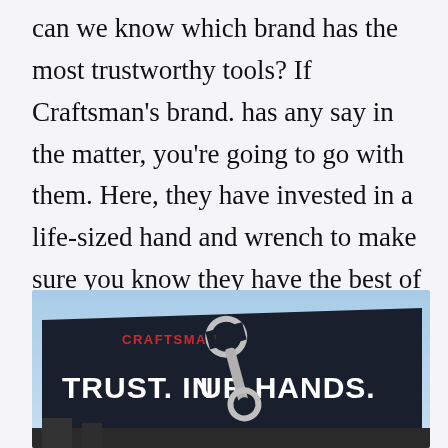can we know which brand has the most trustworthy tools? If Craftsman's brand. has any say in the matter, you're going to go with them. Here, they have invested in a life-sized hand and wrench to make sure you know they have the best of the best near you.
[Figure (photo): A Craftsman billboard advertisement against a blue sky. The billboard has a dark navy background with the red Craftsman logo at the top left, and white bold text reading 'TRUST. IN YOUR HANDS.' with a large silver wrench graphic integrated into the text.]